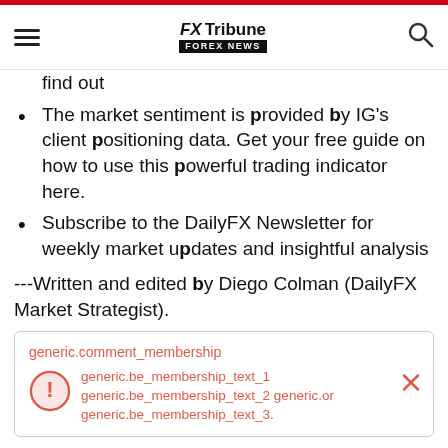FX Tribune FOREX NEWS
find out
The market sentiment is provided by IG's client positioning data. Get your free guide on how to use this powerful trading indicator here.
Subscribe to the DailyFX Newsletter for weekly market updates and insightful analysis
---Written and edited by Diego Colman (DailyFX Market Strategist).
generic.comment_membership
generic.be_membership_text_1 generic.be_membership_text_2 generic.or generic.be_membership_text_3.
< Yorumlar>